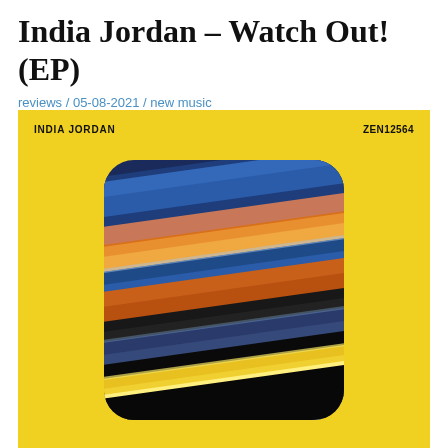India Jordan – Watch Out! (EP)
reviews / 05-08-2021 / new music
[Figure (illustration): Album cover for India Jordan Watch Out EP. Bright yellow background with INDIA JORDAN text top-left and ZEN12564 catalog number top-right. Center features a rounded-square abstract artwork with motion-blurred streaks of blue, orange, yellow, and dark tones suggesting speed or a blurred landscape.]